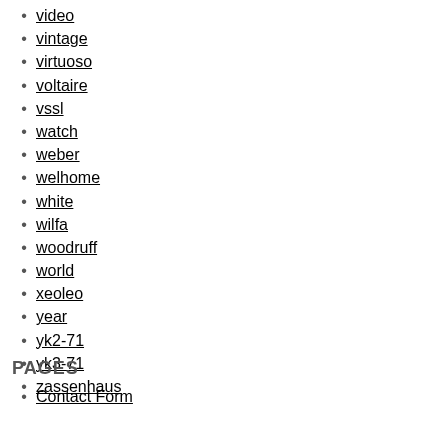video
vintage
virtuoso
voltaire
vssl
watch
weber
welhome
white
wilfa
woodruff
world
xeoleo
year
yk2-71
yk3-71
zassenhaus
PAGES
Contact Form